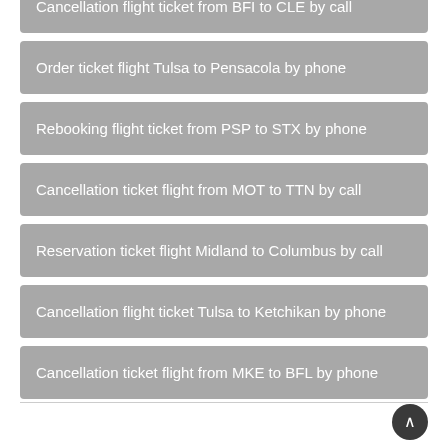Cancellation flight ticket from BFI to CLE by call
Order ticket flight Tulsa to Pensacola by phone
Rebooking flight ticket from PSP to STX by phone
Cancellation ticket flight from MOT to TTN by call
Reservation ticket flight Midland to Columbus by call
Cancellation flight ticket Tulsa to Ketchikan by phone
Cancellation ticket flight from MKE to BFL by phone